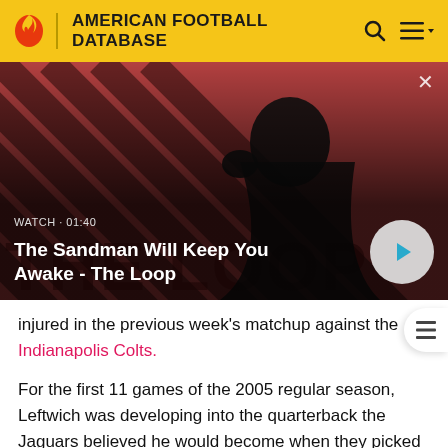AMERICAN FOOTBALL DATABASE
[Figure (screenshot): Video thumbnail for 'The Sandman Will Keep You Awake - The Loop' showing a man in black cape with a raven on shoulder against a red and dark diagonal striped background. Watch label shows '01:40' duration. A play button circle is visible on the right.]
injured in the previous week's matchup against the Indianapolis Colts.
For the first 11 games of the 2005 regular season, Leftwich was developing into the quarterback the Jaguars believed he would become when they picked him